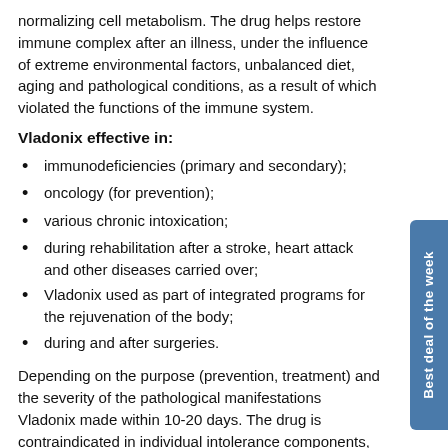normalizing cell metabolism. The drug helps restore immune complex after an illness, under the influence of extreme environmental factors, unbalanced diet, aging and pathological conditions, as a result of which violated the functions of the immune system.
Vladonix effective in:
immunodeficiencies (primary and secondary);
oncology (for prevention);
various chronic intoxication;
during rehabilitation after a stroke, heart attack and other diseases carried over;
Vladonix used as part of integrated programs for the rejuvenation of the body;
during and after surgeries.
Depending on the purpose (prevention, treatment) and the severity of the pathological manifestations Vladonix made within 10-20 days. The drug is contraindicated in individual intolerance components, during pregnancy and lactation. Side effects have been identified.
Later Vladonix recommended repeated course in 6 months.